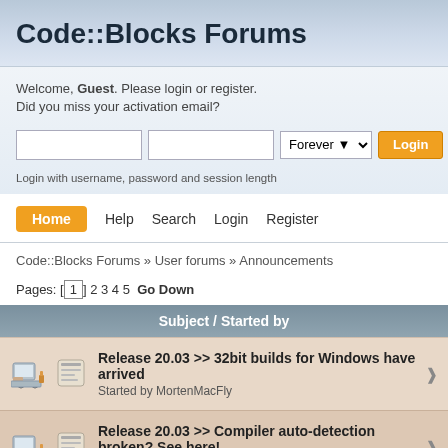Code::Blocks Forums
Welcome, Guest. Please login or register.
Did you miss your activation email?
Login with username, password and session length
The new Rel
Home  Help  Search  Login  Register
Code::Blocks Forums » User forums » Announcements
Pages: [1] 2 3 4 5  Go Down
| Subject / Started by |
| --- |
| Release 20.03 >> 32bit builds for Windows have arrived
Started by MortenMacFly |
| Release 20.03 >> Compiler auto-detection broken? See here!
Started by MortenMacFly |